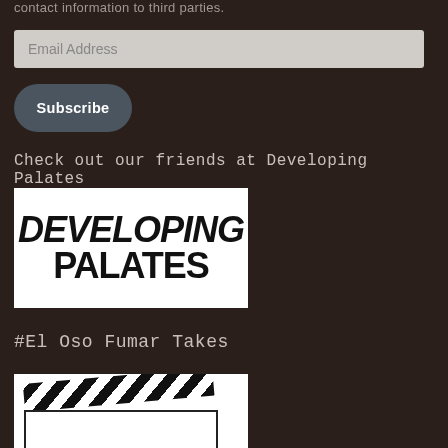contact information to third parties.
[Figure (other): Email address input field]
[Figure (other): Subscribe button]
Check out our friends at Developing Palates
[Figure (logo): Developing Palates logo — bold black text on white background reading DEVELOPING PALATES]
#El Oso Fumar Takes
[Figure (illustration): Movie clapperboard illustration in black and white]